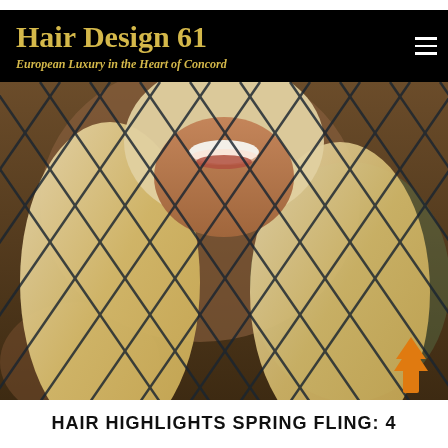Hair Design 61 — European Luxury in the Heart of Concord
[Figure (photo): Close-up photo of a smiling blonde woman with long blonde highlighted hair, viewed through a chain-link fence with a diamond pattern. Background is blurred with warm tones. An orange upward arrow/scroll button is visible in the bottom-right corner.]
HAIR HIGHLIGHTS SPRING FLING: 4